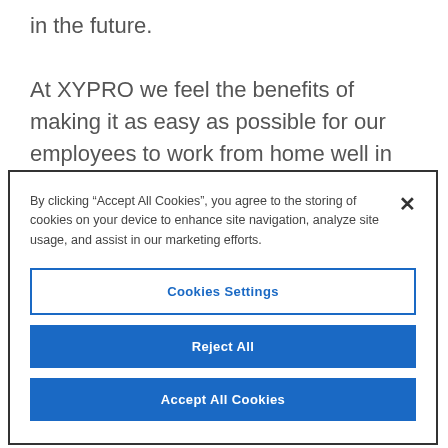learned from this event to protect ourselves in the future.

At XYPRO we feel the benefits of making it as easy as possible for our employees to work from home well in advance of a national emergency being declared, for
By clicking “Accept All Cookies”, you agree to the storing of cookies on your device to enhance site navigation, analyze site usage, and assist in our marketing efforts.
Cookies Settings
Reject All
Accept All Cookies